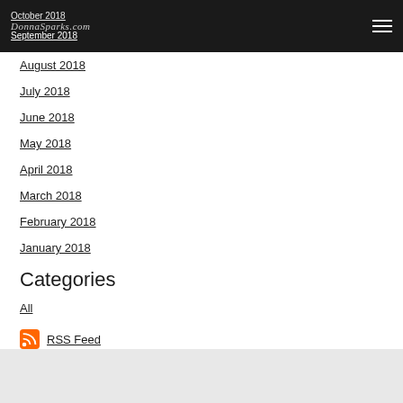October 2018 | DonnaSparks.com | September 2018
August 2018
July 2018
June 2018
May 2018
April 2018
March 2018
February 2018
January 2018
Categories
All
RSS Feed